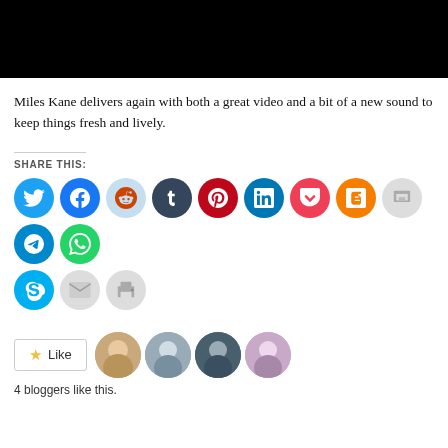[Figure (photo): Black rectangle at top of page, cropped video or image thumbnail]
Miles Kane delivers again with both a great video and a bit of a new sound to keep things fresh and lively.
SHARE THIS:
[Figure (infographic): Row of social media share buttons: Twitter (blue), Facebook (blue), Reddit (light blue), Tumblr (dark blue), Pinterest (red), LinkedIn (blue), Pocket (red), Blogger (orange), Print/image (gray), Telegram (blue), WhatsApp (green), then second row: Skype (blue), Email (gray), Print (gray)]
[Figure (infographic): Like button with star icon followed by 4 blogger avatar thumbnails]
4 bloggers like this.